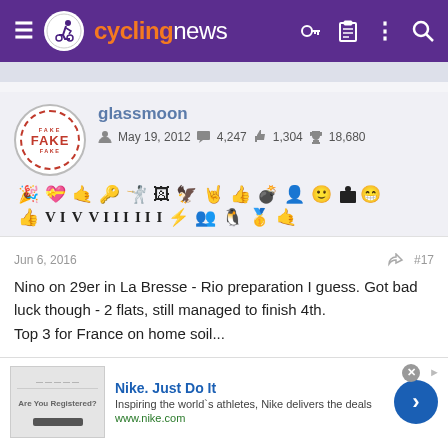cyclingnews
glassmoon
May 19, 2012  4,247  1,304  18,680
Jun 6, 2016  #17
Nino on 29er in La Bresse - Rio preparation I guess. Got bad luck though - 2 flats, still managed to finish 4th.
Top 3 for France on home soil...
[Figure (screenshot): Nike advertisement banner: 'Nike. Just Do It' - Inspiring the world's athletes, Nike delivers the deals - www.nike.com]